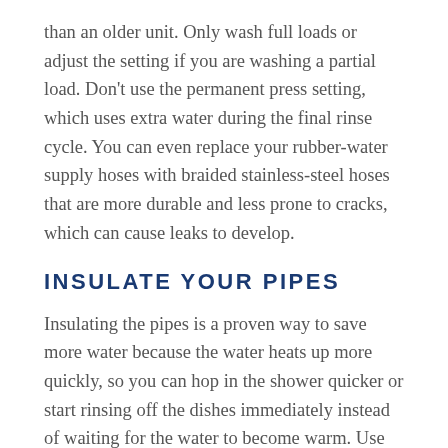than an older unit. Only wash full loads or adjust the setting if you are washing a partial load. Don't use the permanent press setting, which uses extra water during the final rinse cycle. You can even replace your rubber-water supply hoses with braided stainless-steel hoses that are more durable and less prone to cracks, which can cause leaks to develop.
INSULATE YOUR PIPES
Insulating the pipes is a proven way to save more water because the water heats up more quickly, so you can hop in the shower quicker or start rinsing off the dishes immediately instead of waiting for the water to become warm. Use thick foam rubber insulation on